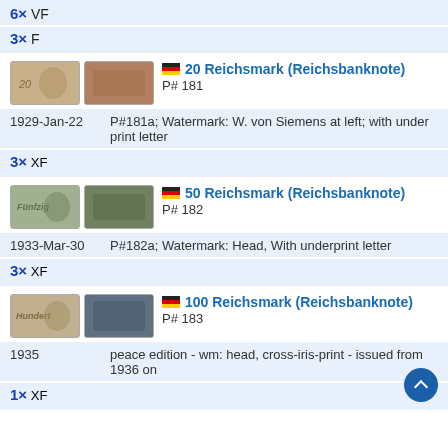6× VF
3× F
[Figure (photo): Two banknote images for 20 Reichsmark (Reichsbanknote)]
20 Reichsmark (Reichsbanknote) P# 181
1929-Jan-22   P#181a; Watermark: W. von Siemens at left; with under print letter
3× XF
[Figure (photo): Two banknote images for 50 Reichsmark (Reichsbanknote)]
50 Reichsmark (Reichsbanknote) P# 182
1933-Mar-30   P#182a; Watermark: Head, With underprint letter
3× XF
[Figure (photo): Two banknote images for 100 Reichsmark (Reichsbanknote)]
100 Reichsmark (Reichsbanknote) P# 183
1935   peace edition - wm: head, cross-iris-print - issued from 1936 on
1× XF